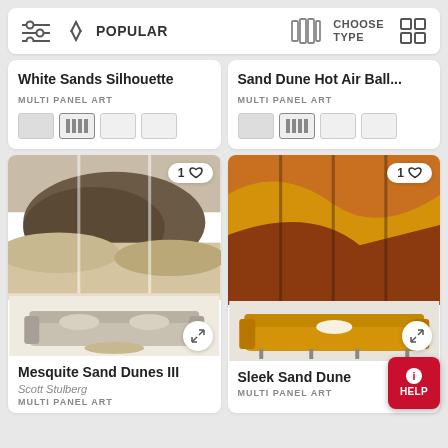Filter | POPULAR sort | CHOOSE TYPE | Grid view
White Sands Silhouette
MULTI PANEL ART
Sand Dune Hot Air Ball...
MULTI PANEL ART
[Figure (photo): Sepia-toned photo of Mesquite Sand Dunes with a grey sofa and living room interior below, shown as a 3-panel wall art]
Mesquite Sand Dunes III
Scott Stulberg
MULTI PANEL ART
[Figure (photo): Photo of abstract orange and brown sand dune curves shown as 4-panel wall art above a yellow/mustard sofa in a living room]
Sleek Sand Dune
MULTI PANEL ART